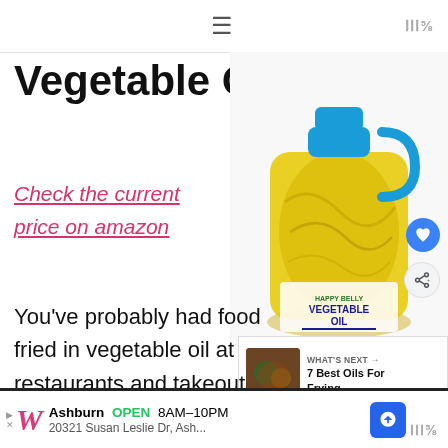☰  MillI°
Vegetable Oil
Check the current price on amazon
[Figure (photo): Large plastic jug of vegetable oil with blue cap and handle, labeled 'Happy Belly Vegetable Oil']
You've probably had food fried in vegetable oil at restaurants and takeout stores.
Ashburn  OPEN  8AM–10PM  20321 Susan Leslie Dr, Ash...  Walgreens advertisement